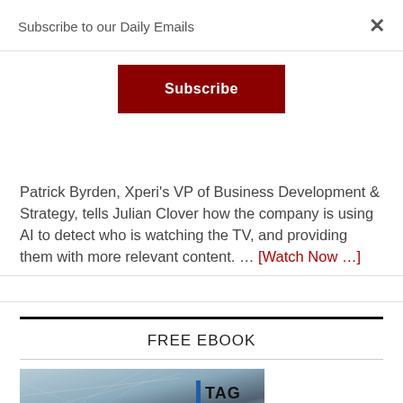Subscribe to our Daily Emails
[Figure (other): Dark red Subscribe button]
Patrick Byrden, Xperi's VP of Business Development & Strategy, tells Julian Clover how the company is using AI to detect who is watching the TV, and providing them with more relevant content. … [Watch Now …]
FREE EBOOK
[Figure (photo): TAG Video Systems ebook cover image showing network mesh graphic with TAG logo]